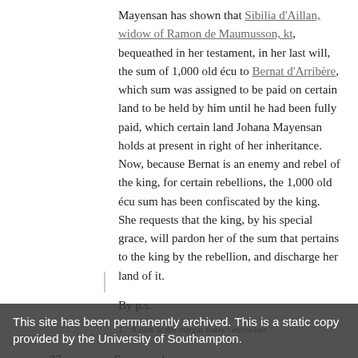Mayensan has shown that Sibilia d'Aillan, widow of Ramon de Maumusson, kt, bequeathed in her testament, in her last will, the sum of 1,000 old écu to Bernat d'Arribère, which sum was assigned to be paid on certain land to be held by him until he had been fully paid, which certain land Johana Mayensan holds at present in right of her inheritance. Now, because Bernat is an enemy and rebel of the king, for certain rebellions, the 1,000 old écu sum has been confiscated by the king. She requests that the king, by his special grace, will pardon her of the sum that pertains to the king by the rebellion, and discharge her land of it.
By p.s.
1.   A note in the margin states ' extrochus '.
37   Same as above
And it is ordered to the constable of Bordeaux, or his lieutenant, that they should permit Johana [Mayensan] to hold her land together with the issues, and 500 crowns according to the tenor of the king's letters, and not permit her to be in any way troubled, harmed or molested against their tenor. Proviso only that she promptly pays the 500 old écu at the terms aforesaid.
This site has been permanently archived. This is a static copy provided by the University of Southampton.